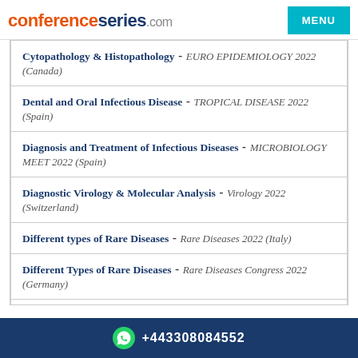conferenceseries.com
Cytopathology & Histopathology - EURO EPIDEMIOLOGY 2022 (Canada)
Dental and Oral Infectious Disease - TROPICAL DISEASE 2022 (Spain)
Diagnosis and Treatment of Infectious Diseases - MICROBIOLOGY MEET 2022 (Spain)
Diagnostic Virology & Molecular Analysis - Virology 2022 (Switzerland)
Different types of Rare Diseases - Rare Diseases 2022 (Italy)
Different Types of Rare Diseases - Rare Diseases Congress 2022 (Germany)
+443308084552